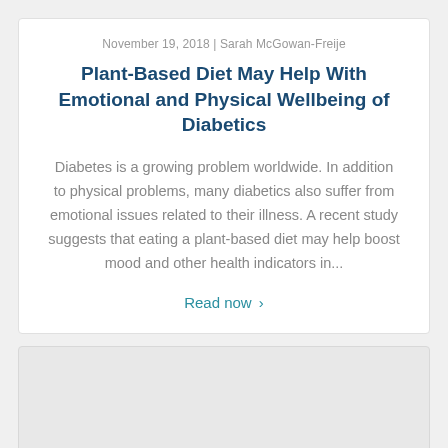November 19, 2018 | Sarah McGowan-Freije
Plant-Based Diet May Help With Emotional and Physical Wellbeing of Diabetics
Diabetes is a growing problem worldwide. In addition to physical problems, many diabetics also suffer from emotional issues related to their illness. A recent study suggests that eating a plant-based diet may help boost mood and other health indicators in...
Read now ›